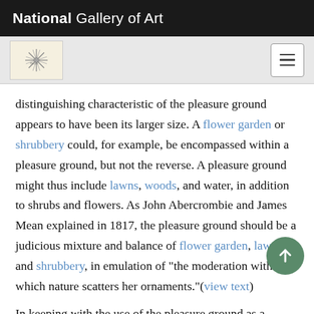National Gallery of Art
[Figure (logo): National Gallery of Art website navigation bar with logo image and hamburger menu button]
distinguishing characteristic of the pleasure ground appears to have been its larger size. A flower garden or shrubbery could, for example, be encompassed within a pleasure ground, but not the reverse. A pleasure ground might thus include lawns, woods, and water, in addition to shrubs and flowers. As John Abercrombie and James Mean explained in 1817, the pleasure ground should be a judicious mixture and balance of flower garden, lawn, and shrubbery, in emulation of "the moderation with which nature scatters her ornaments."(view text)
In keeping with the use of the pleasure ground as a display for ornamental plants, a marked interest in